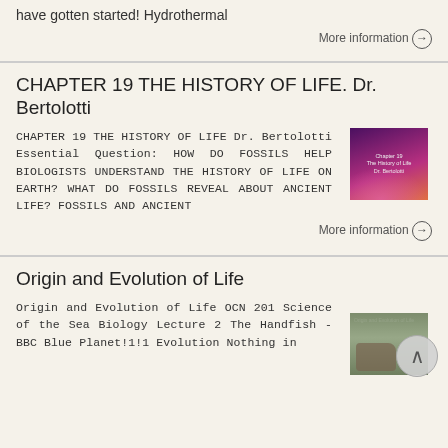have gotten started! Hydrothermal
More information →
CHAPTER 19 THE HISTORY OF LIFE. Dr. Bertolotti
CHAPTER 19 THE HISTORY OF LIFE Dr. Bertolotti Essential Question: HOW DO FOSSILS HELP BIOLOGISTS UNDERSTAND THE HISTORY OF LIFE ON EARTH? WHAT DO FOSSILS REVEAL ABOUT ANCIENT LIFE? FOSSILS AND ANCIENT
[Figure (photo): Dark purple/pink aurora-like image with text overlay reading Chapter 19 The History of Life Dr. Bertolotti]
More information →
Origin and Evolution of Life
Origin and Evolution of Life OCN 201 Science of the Sea Biology Lecture 2 The Handfish - BBC Blue Planet!1!1 Evolution Nothing in
[Figure (photo): Small thumbnail image of origin and evolution of life with handfish photo]